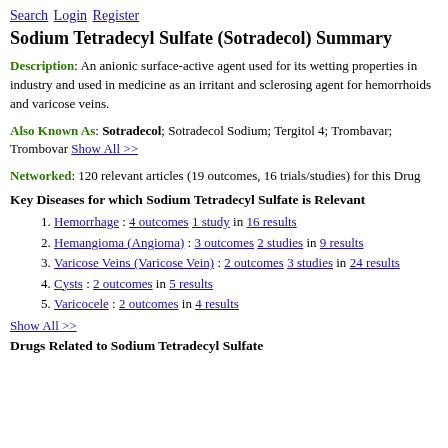Search Login Register
Sodium Tetradecyl Sulfate (Sotradecol) Summary
Description: An anionic surface-active agent used for its wetting properties in industry and used in medicine as an irritant and sclerosing agent for hemorrhoids and varicose veins.
Also Known As: Sotradecol; Sotradecol Sodium; Tergitol 4; Trombavar; Trombovar Show All >>
Networked: 120 relevant articles (19 outcomes, 16 trials/studies) for this Drug
Key Diseases for which Sodium Tetradecyl Sulfate is Relevant
Hemorrhage : 4 outcomes 1 study in 16 results
Hemangioma (Angioma) : 3 outcomes 2 studies in 9 results
Varicose Veins (Varicose Vein) : 2 outcomes 3 studies in 24 results
Cysts : 2 outcomes in 5 results
Varicocele : 2 outcomes in 4 results
Show All >>
Drugs Related to Sodium Tetradecyl Sulfate